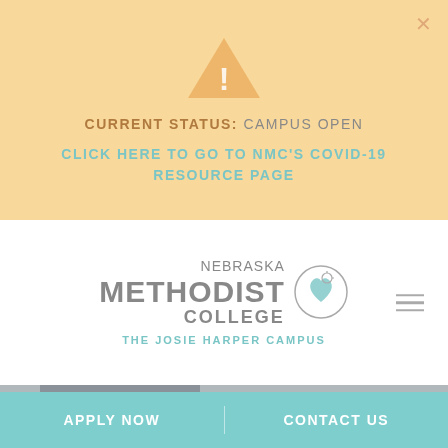[Figure (screenshot): Orange/yellow warning alert banner with warning triangle icon showing campus status notification]
CURRENT STATUS: CAMPUS OPEN
CLICK HERE TO GO TO NMC'S COVID-19 RESOURCE PAGE
[Figure (logo): Nebraska Methodist College logo with heart icon and subtitle 'The Josie Harper Campus']
[Figure (photo): Partial photo of a person's head in the background hero area]
APPLY NOW
CONTACT US